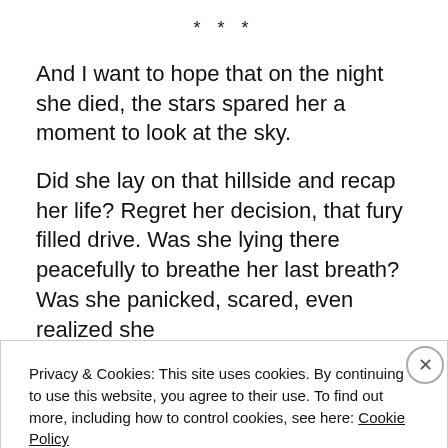* * *
And I want to hope that on the night she died, the stars spared her a moment to look at the sky.
Did she lay on that hillside and recap her life? Regret her decision, that fury filled drive. Was she lying there peacefully to breathe her last breath? Was she panicked, scared, even realized she
Privacy & Cookies: This site uses cookies. By continuing to use this website, you agree to their use. To find out more, including how to control cookies, see here: Cookie Policy
Close and accept